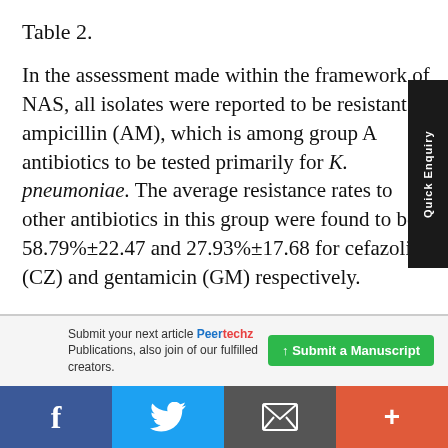Table 2.
In the assessment made within the framework of NAS, all isolates were reported to be resistant to ampicillin (AM), which is among group A antibiotics to be tested primarily for K. pneumoniae. The average resistance rates to other antibiotics in this group were found to be 58.79%±22.47 and 27.93%±17.68 for cefazolin (CZ) and gentamicin (GM) respectively.
Submit your next article Peertechz Publications, also join of our fulfilled creators.
Submit a Manuscript
f | Twitter icon | Email icon | +